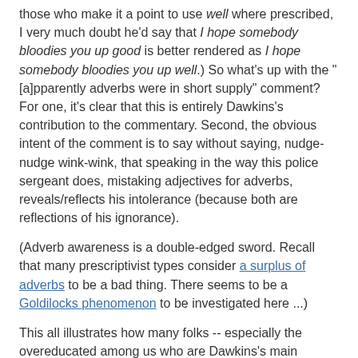those who make it a point to use well where prescribed, I very much doubt he'd say that I hope somebody bloodies you up good is better rendered as I hope somebody bloodies you up well.) So what's up with the "[a]pparently adverbs were in short supply" comment? For one, it's clear that this is entirely Dawkins's contribution to the commentary. Second, the obvious intent of the comment is to say without saying, nudge-nudge wink-wink, that speaking in the way this police sergeant does, mistaking adjectives for adverbs, reveals/reflects his intolerance (because both are reflections of his ignorance).
(Adverb awareness is a double-edged sword. Recall that many prescriptivist types consider a surplus of adverbs to be a bad thing. There seems to be a Goldilocks phenomenon to be investigated here ...)
This all illustrates how many folks -- especially the overeducated among us who are Dawkins's main audience, somewhat ironically -- are willing to accept without question that speech variety and a(n in)tolerant attitude go hand in hand (perhaps, as suggested above, mediated via level of education).
(Incidentally, you can find an .mp3 reading of both of the paragraphs quoted here on Mills's website -- it's an excerpt from the audio book as narrated by Dawkins and his wife Lalla Ward